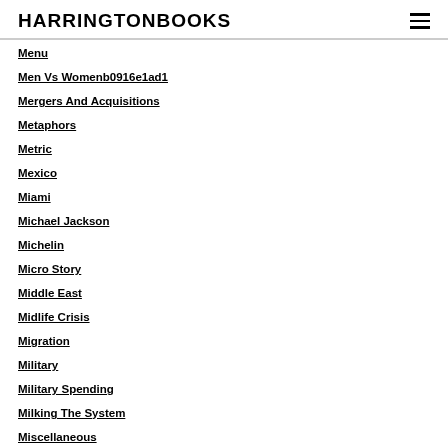HARRINGTONBOOKS
Menu
Men Vs Womenb0916e1ad1
Mergers And Acquisitions
Metaphors
Metric
Mexico
Miami
Michael Jackson
Michelin
Micro Story
Middle East
Midlife Crisis
Migration
Military
Military Spending
Milking The System
Miscellaneous